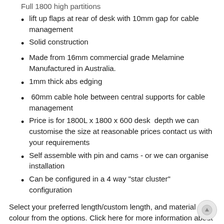lift up flaps at rear of desk with 10mm gap for cable management
Solid construction
Made from 16mm commercial grade Melamine Manufactured in Australia.
1mm thick abs edging
60mm cable hole between central supports for cable management
Price is for 1800L x 1800 x 600 desk  depth we can customise the size at reasonable prices contact us with your requirements
Self assemble with pin and cams - or we can organise installation
Can be configured in a 4 way "star cluster"  configuration
Select your preferred length/custom length, and material colour from the options. Click here for more information about colours.
If you use the custom length box to type/enter your own length, please note our rules. Click here to view our Guidelines for